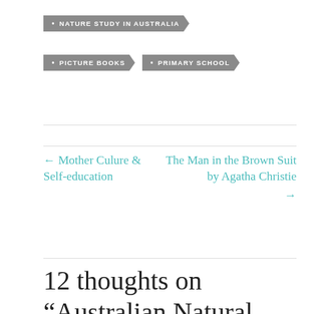• NATURE STUDY IN AUSTRALIA
• PICTURE BOOKS
• PRIMARY SCHOOL
← Mother Culure & Self-education
The Man in the Brown Suit by Agatha Christie →
12 thoughts on “Australian Natural History – The